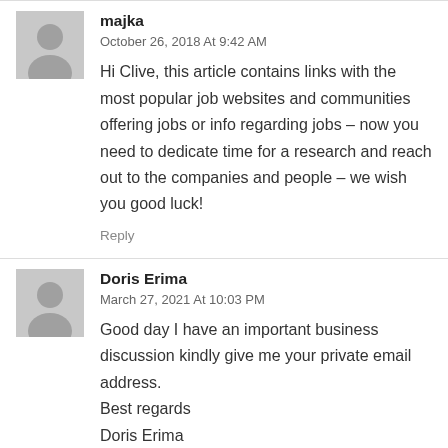majka
October 26, 2018 At 9:42 AM
Hi Clive, this article contains links with the most popular job websites and communities offering jobs or info regarding jobs – now you need to dedicate time for a research and reach out to the companies and people – we wish you good luck!
Reply
Doris Erima
March 27, 2021 At 10:03 PM
Good day I have an important business discussion kindly give me your private email address. Best regards Doris Erima